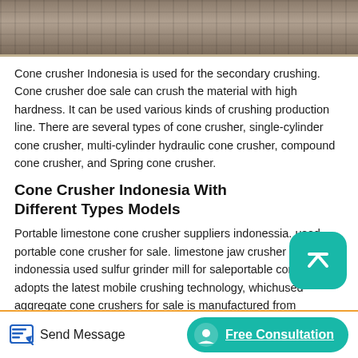[Figure (photo): Top portion of an industrial crusher machine, showing metal frame and equipment against an outdoor background.]
Cone crusher Indonesia is used for the secondary crushing. Cone crusher doe sale can crush the material with high hardness. It can be used various kinds of crushing production line. There are several types of cone crusher, single-cylinder cone crusher, multi-cylinder hydraulic cone crusher, compound cone crusher, and Spring cone crusher.
Cone Crusher Indonesia With Different Types Models
Portable limestone cone crusher suppliers indonessia. used portable cone crusher for sale. limestone jaw crusher for sale in indonessia used sulfur grinder mill for saleportable cone crusher adopts the latest mobile crushing technology, whichused aggregate cone crushers for sale is manufactured from Shanghai Xuanshi,.from Certified China. Get
Send Message   Free Consultation